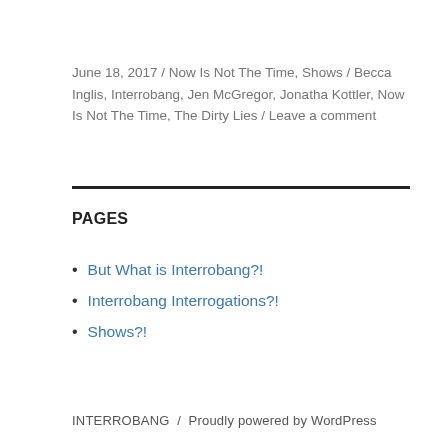June 18, 2017 / Now Is Not The Time, Shows / Becca Inglis, Interrobang, Jen McGregor, Jonatha Kottler, Now Is Not The Time, The Dirty Lies / Leave a comment
PAGES
But What is Interrobang?!
Interrobang Interrogations?!
Shows?!
INTERROBANG / Proudly powered by WordPress